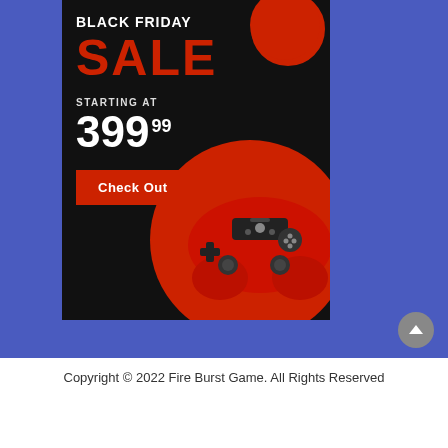[Figure (illustration): Black Friday Sale promotional banner for gaming controller. Black background with red circles, large 'BLACK FRIDAY SALE' text, price '399.99', 'STARTING AT' label, 'Check Out' button, and a red PlayStation controller image. Banner is on a blue background.]
Copyright © 2022 Fire Burst Game. All Rights Reserved